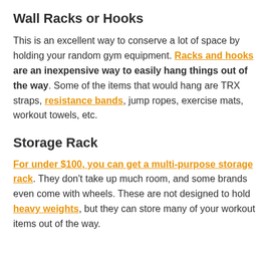Wall Racks or Hooks
This is an excellent way to conserve a lot of space by holding your random gym equipment. Racks and hooks are an inexpensive way to easily hang things out of the way. Some of the items that would hang are TRX straps, resistance bands, jump ropes, exercise mats, workout towels, etc.
Storage Rack
For under $100, you can get a multi-purpose storage rack. They don’t take up much room, and some brands even come with wheels. These are not designed to hold heavy weights, but they can store many of your workout items out of the way.